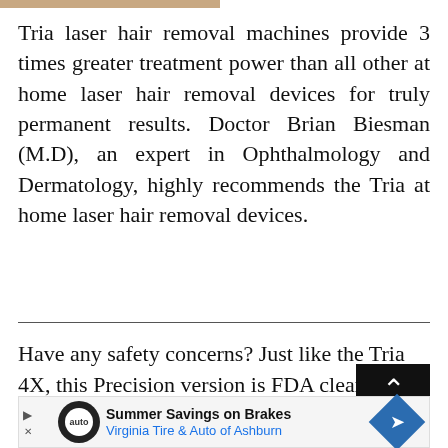Tria laser hair removal machines provide 3 times greater treatment power than all other at home laser hair removal devices for truly permanent results. Doctor Brian Biesman (M.D), an expert in Ophthalmology and Dermatology, highly recommends the Tria at home laser hair removal devices.
Have any safety concerns? Just like the Tria 4X, this Precision version is FDA cleared for effective and safe treatment to put your worries at bay. Tria lasers are the only non-IPL laser hair removal at home lasers to be cleared by the FDA.